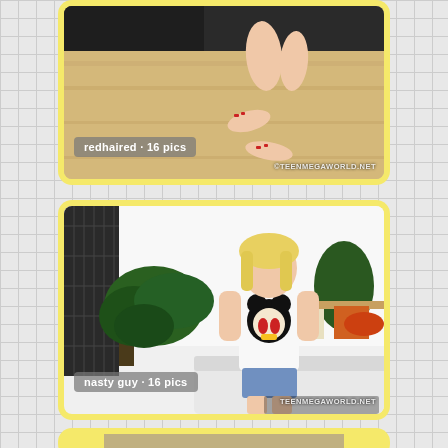[Figure (photo): Photo card with yellow border showing close-up of feet/legs on wooden floor. Label overlay reads 'redhaired · 16 pics'. Watermark: ©TEENMEGAWORLD.NET]
[Figure (photo): Photo card with yellow border showing young woman in white Mickey Mouse t-shirt and denim shorts in a living room with plants. Label overlay reads 'nasty guy · 16 pics'. Watermark: TEENMEGAWORLD.NET]
[Figure (photo): Partial photo card with yellow border at bottom of page, partially cut off.]